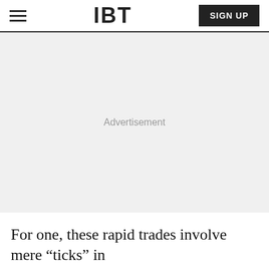IBT
[Figure (other): Advertisement placeholder area with light gray background and centered 'Advertisement' label]
For one, these rapid trades involve mere “ticks” in